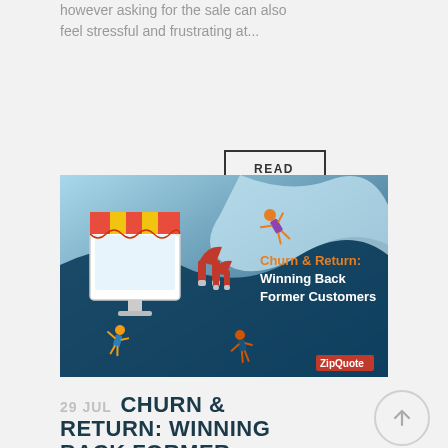however asking for the sale can also feel stressful and frustrating at...
READ MORE
[Figure (illustration): Illustrated banner image for 'Churn & Return: Winning Back Former Customers'. Features a storefront with striped awning, magnets attracting customers, people flying toward a computer screen, on a teal/blue gradient background. ZipQuote logo in bottom right.]
29 JUL CHURN & RETURN: WINNING BACK FORMER CUSTOMERS